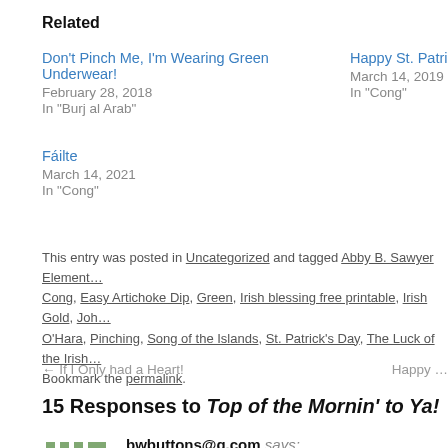Related
Don't Pinch Me, I'm Wearing Green Underwear!
February 28, 2018
In "Burj al Arab"
Happy St. Patri…
March 14, 2019
In "Cong"
Fáilte
March 14, 2021
In "Cong"
This entry was posted in Uncategorized and tagged Abby B. Sawyer Element… Cong, Easy Artichoke Dip, Green, Irish blessing free printable, Irish Gold, Joh… O'Hara, Pinching, Song of the Islands, St. Patrick's Day, The Luck of the Irish… Bookmark the permalink.
← If I Only had a Heart!    Happy …
15 Responses to Top of the Mornin' to Ya!
bwbuttons@q.com says:
February 23, 2014 at 9:28 am